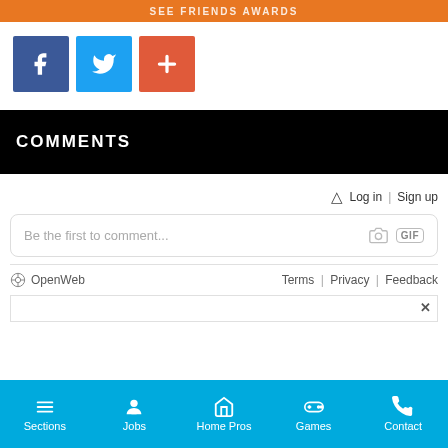[Figure (screenshot): Orange banner at top of page with white text (partially visible)]
[Figure (infographic): Social share buttons: Facebook (blue), Twitter (light blue), and a plus/add button (orange-red)]
COMMENTS
Bell icon | Log in | Sign up
Be the first to comment...
OpenWeb   Terms | Privacy | Feedback
[Figure (screenshot): Partial ad banner with close (X) button]
Sections | Jobs | Home Pros | Games | Contact